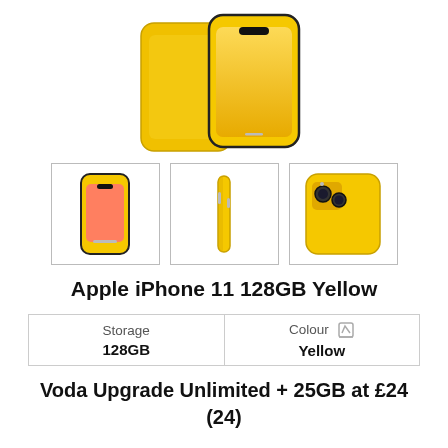[Figure (photo): Apple iPhone 11 in yellow color shown from front/back view — main large product image at top of page]
[Figure (photo): Three thumbnail product images of Apple iPhone 11 Yellow: front view, side view, and back view]
Apple iPhone 11 128GB Yellow
| Storage | Colour |
| --- | --- |
| 128GB | Yellow |
Voda Upgrade Unlimited + 25GB at £24 (24)